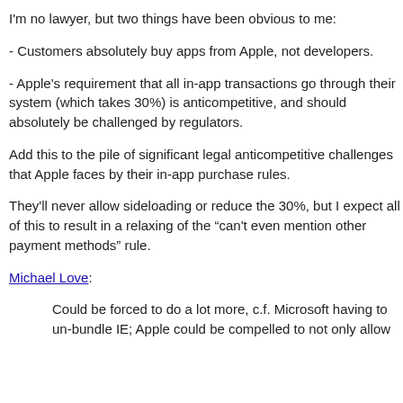I'm no lawyer, but two things have been obvious to me:
- Customers absolutely buy apps from Apple, not developers.
- Apple's requirement that all in-app transactions go through their system (which takes 30%) is anticompetitive, and should absolutely be challenged by regulators.
Add this to the pile of significant legal anticompetitive challenges that Apple faces by their in-app purchase rules.
They'll never allow sideloading or reduce the 30%, but I expect all of this to result in a relaxing of the “can't even mention other payment methods” rule.
Michael Love:
Could be forced to do a lot more, c.f. Microsoft having to un-bundle IE; Apple could be compelled to not only allow